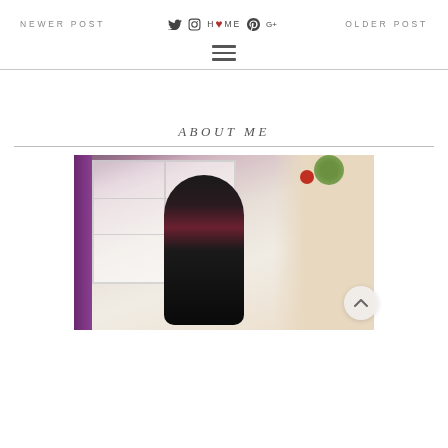NEWER POST | HOME | OLDER POST
[Figure (illustration): Hamburger menu icon (three horizontal lines)]
ABOUT ME
[Figure (photo): Young woman in a black leather jacket and dark red top, wearing sunglasses, drinking from a cup, standing in front of a purple-trimmed building with white windows and potted flowers]